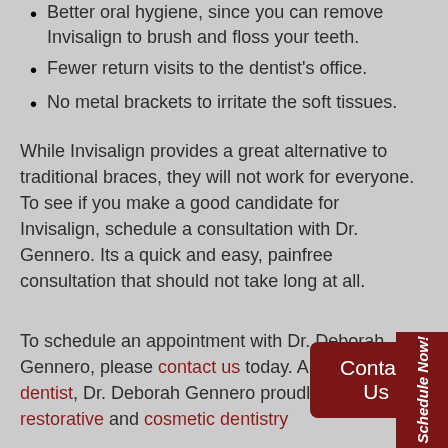Better oral hygiene, since you can remove Invisalign to brush and floss your teeth.
Fewer return visits to the dentist's office.
No metal brackets to irritate the soft tissues.
While Invisalign provides a great alternative to traditional braces, they will not work for everyone. To see if you make a good candidate for Invisalign, schedule a consultation with Dr. Gennero. Its a quick and easy, painfree consultation that should not take long at all.
To schedule an appointment with Dr. Deborah Gennero, please contact us today. A 77084 family dentist, Dr. Deborah Gennero proudly provides restorative and cosmetic dentistry
[Figure (other): Dark red Contact Us button]
[Figure (other): Schedule Now! vertical tab on right side]